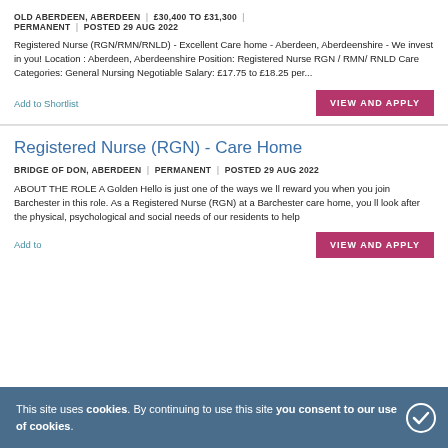OLD ABERDEEN, ABERDEEN | £30,400 TO £31,300 | PERMANENT | POSTED 29 AUG 2022
Registered Nurse (RGN/RMN/RNLD) - Excellent Care home - Aberdeen, Aberdeenshire - We invest in you! Location : Aberdeen, Aberdeenshire Position: Registered Nurse RGN / RMN/ RNLD Care Categories: General Nursing Negotiable Salary: £17.75 to £18.25 per...
Add to Shortlist
VIEW AND APPLY
Registered Nurse (RGN) - Care Home
BRIDGE OF DON, ABERDEEN | PERMANENT | POSTED 29 AUG 2022
ABOUT THE ROLE A Golden Hello is just one of the ways we ll reward you when you join Barchester in this role. As a Registered Nurse (RGN) at a Barchester care home, you ll look after the physical, psychological and social needs of our residents to help
Add to
This site uses cookies. By continuing to use this site you consent to our use of cookies.